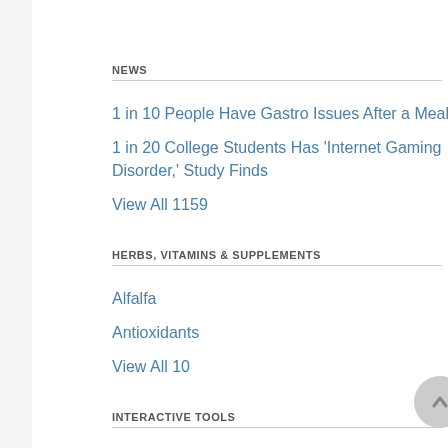NEWS
1 in 10 People Have Gastro Issues After a Meal
1 in 20 College Students Has 'Internet Gaming Disorder,' Study Finds
View All 1159
HERBS, VITAMINS & SUPPLEMENTS
Alfalfa
Antioxidants
View All 10
INTERACTIVE TOOLS
Addiction Quiz
Drugs and Pregnancy Quiz
View All 10